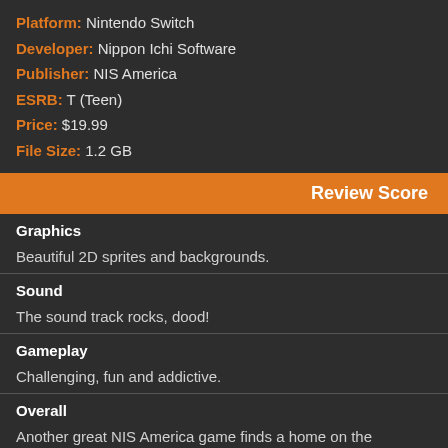Platform: Nintendo Switch
Developer: Nippon Ichi Software
Publisher: NIS America
ESRB: T (Teen)
Price: $19.99
File Size: 1.2 GB
Review Score
Graphics
Beautiful 2D sprites and backgrounds.
Sound
The sound track rocks, dood!
Gameplay
Challenging, fun and addictive.
Overall
Another great NIS America game finds a home on the Nintendo Switch.